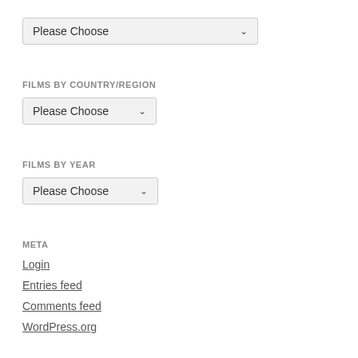[Figure (screenshot): Dropdown select element with label 'Please Choose' and a chevron arrow, wide width]
FILMS BY COUNTRY/REGION
[Figure (screenshot): Dropdown select element with label 'Please Choose' and a chevron arrow, medium width]
FILMS BY YEAR
[Figure (screenshot): Dropdown select element with label 'Please Choose' and a chevron arrow, medium width]
META
Login
Entries feed
Comments feed
WordPress.org